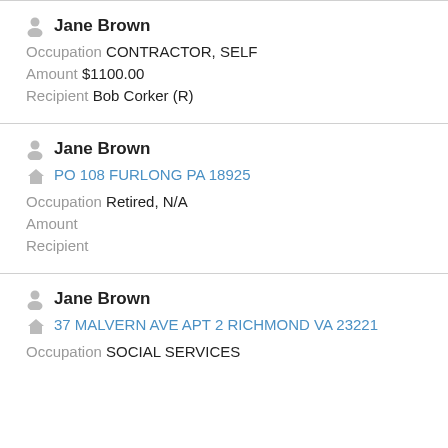Jane Brown | Occupation: CONTRACTOR, SELF | Amount: $1100.00 | Recipient: Bob Corker (R)
Jane Brown | PO 108 FURLONG PA 18925 | Occupation: Retired, N/A | Amount: | Recipient:
Jane Brown | 37 MALVERN AVE APT 2 RICHMOND VA 23221 | Occupation: SOCIAL SERVICES